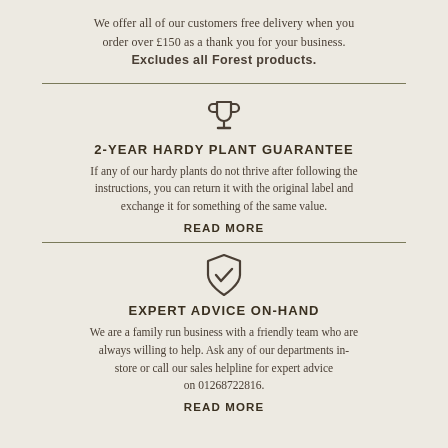We offer all of our customers free delivery when you order over £150 as a thank you for your business. Excludes all Forest products.
2-YEAR HARDY PLANT GUARANTEE
If any of our hardy plants do not thrive after following the instructions, you can return it with the original label and exchange it for something of the same value.
READ MORE
EXPERT ADVICE ON-HAND
We are a family run business with a friendly team who are always willing to help. Ask any of our departments in-store or call our sales helpline for expert advice on 01268722816.
READ MORE